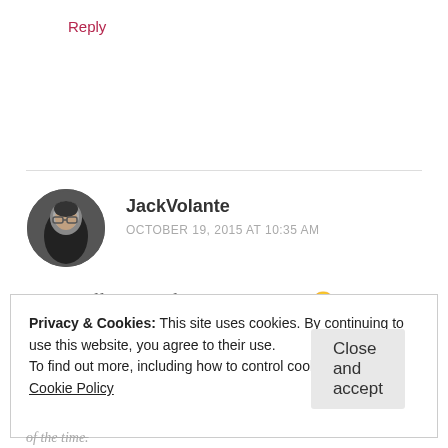Reply
[Figure (photo): Black and white circular avatar photo of a man wearing glasses]
JackVolante
OCTOBER 19, 2015 AT 10:35 AM
Great stuff Adele! I feel your irritation. 🙂
Privacy & Cookies: This site uses cookies. By continuing to use this website, you agree to their use.
To find out more, including how to control cookies, see here:
Cookie Policy
Close and accept
of the time.